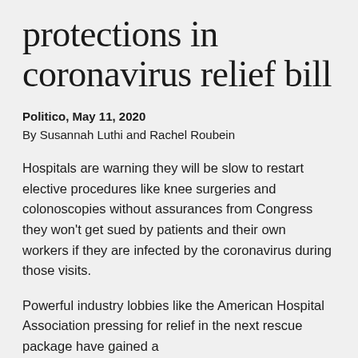protections in coronavirus relief bill
Politico, May 11, 2020
By Susannah Luthi and Rachel Roubein
Hospitals are warning they will be slow to restart elective procedures like knee surgeries and colonoscopies without assurances from Congress they won't get sued by patients and their own workers if they are infected by the coronavirus during those visits.
Powerful industry lobbies like the American Hospital Association pressing for relief in the next rescue package have gained a